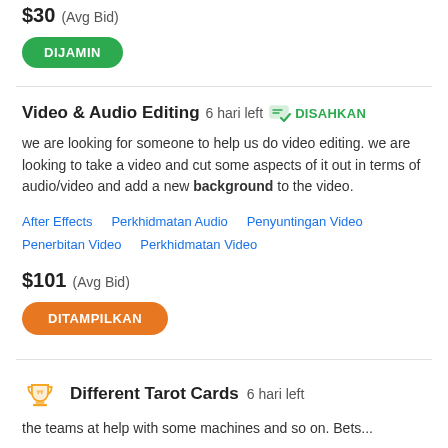$30  (Avg Bid)
DIJAMIN
Video & Audio Editing  6 hari left  DISAHKAN
we are looking for someone to help us do video editing. we are looking to take a video and cut some aspects of it out in terms of audio/video and add a new background to the video.
After Effects   Perkhidmatan Audio   Penyuntingan Video   Penerbitan Video   Perkhidmatan Video
$101  (Avg Bid)
DITAMPILKAN
Different Tarot Cards  6 hari left